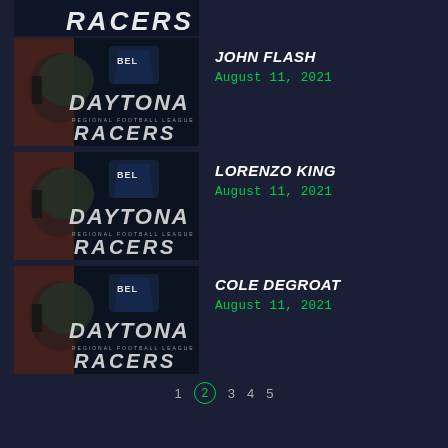[Figure (screenshot): Daytona Racers football team thumbnail image (top partial strip)]
[Figure (screenshot): Daytona Racers football team thumbnail image for John Flash entry]
JOHN FLASH
August 11, 2021
[Figure (screenshot): Daytona Racers football team thumbnail image for Lorenzo King entry]
LORENZO KING
August 11, 2021
[Figure (screenshot): Daytona Racers football team thumbnail image for Cole DeGroat entry]
COLE DEGROAT
August 11, 2021
1 2 3 4 5